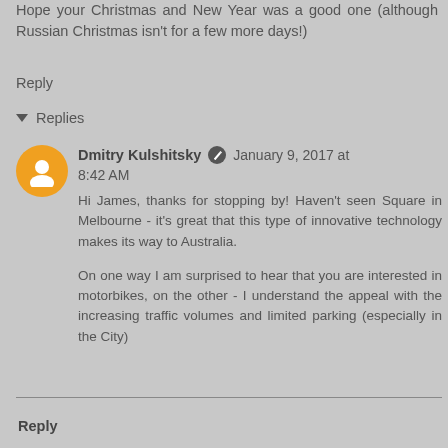Hope your Christmas and New Year was a good one (although Russian Christmas isn't for a few more days!)
Reply
▼ Replies
Dmitry Kulshitsky January 9, 2017 at 8:42 AM
Hi James, thanks for stopping by! Haven't seen Square in Melbourne - it's great that this type of innovative technology makes its way to Australia.
On one way I am surprised to hear that you are interested in motorbikes, on the other - I understand the appeal with the increasing traffic volumes and limited parking (especially in the City)
Reply